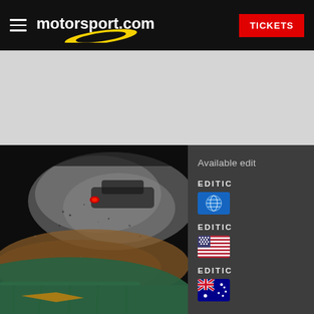motorsport.com — TICKETS
[Figure (screenshot): Motorsport.com website header with hamburger menu icon, motorsport.com logo with yellow swoosh, and red TICKETS button on dark background]
[Figure (photo): Racing car kicking up dust and debris on track, dramatic low angle shot with red brake lights visible, green grass/tyre barrier in foreground]
Available edit
EDITIC
EDITIC
EDITIC